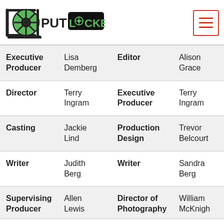PutLocker logo and navigation menu
| Role | Name | Role | Name |
| --- | --- | --- | --- |
| Executive Producer | Lisa Demberg | Editor | Alison Grace |
| Director | Terry Ingram | Executive Producer | Terry Ingram |
| Casting | Jackie Lind | Production Design | Trevor Belcourt |
| Writer | Judith Berg | Writer | Sandra Berg |
| Supervising Producer | Allen Lewis | Director of Photography | William McKnight |